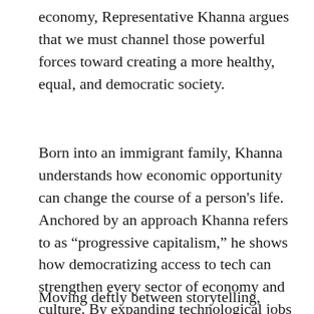economy, Representative Khanna argues that we must channel those powerful forces toward creating a more healthy, equal, and democratic society.
Born into an immigrant family, Khanna understands how economic opportunity can change the course of a person's life. Anchored by an approach Khanna refers to as “progressive capitalism,” he shows how democratizing access to tech can strengthen every sector of economy and culture. By expanding technological jobs nationwide through public and private partnerships, we can close the wealth gap in America and begin to repair the fractured, distrusting relationships that have plagued our country for far too long.
Moving deftly between storytelling, policy, and some of the country’s greatest thinkers in political